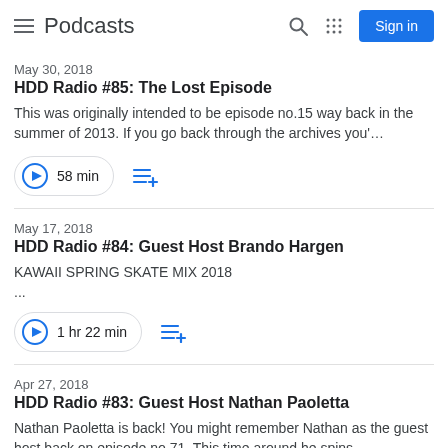Podcasts
May 30, 2018
HDD Radio #85: The Lost Episode
This was originally intended to be episode no.15 way back in the summer of 2013. If you go back through the archives you'…
58 min
May 17, 2018
HDD Radio #84: Guest Host Brando Hargen
KAWAII SPRING SKATE MIX 2018
…
1 hr 22 min
Apr 27, 2018
HDD Radio #83: Guest Host Nathan Paoletta
Nathan Paoletta is back! You might remember Nathan as the guest host back on episode no.71. This time around he spins…